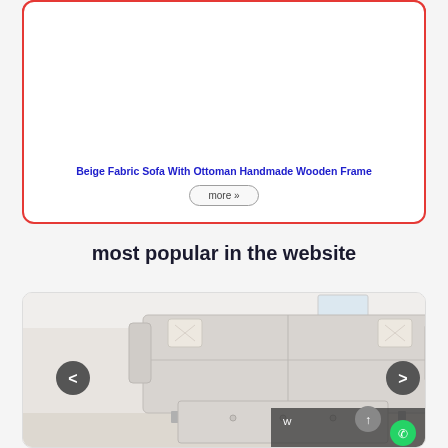[Figure (photo): Photo of a beige tufted ottoman/bench with dark wooden legs on a light wood floor]
Beige Fabric Sofa With Ottoman Handmade Wooden Frame
more »
most popular in the website
[Figure (photo): Photo of a light grey/white fabric sofa with two decorative pillows and a matching tufted ottoman in front, with navigation arrows on each side]